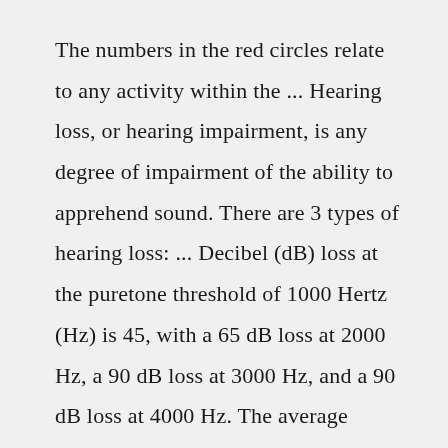The numbers in the red circles relate to any activity within the ... Hearing loss, or hearing impairment, is any degree of impairment of the ability to apprehend sound. There are 3 types of hearing loss: ... Decibel (dB) loss at the puretone threshold of 1000 Hertz (Hz) is 45, with a 65 dB loss at 2000 Hz, a 90 dB loss at 3000 Hz, and a 90 dB loss at 4000 Hz. The average decibel loss is 73 in the left ear. From ...See full list